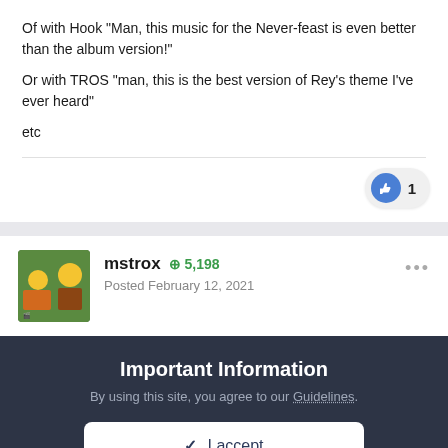Of with Hook "Man, this music for the Never-feast is even better than the album version!"
Or with TROS "man, this is the best version of Rey's theme I've ever heard"
etc
mstrox  +5,198
Posted February 12, 2021
Important Information
By using this site, you agree to our Guidelines.
✓  I accept